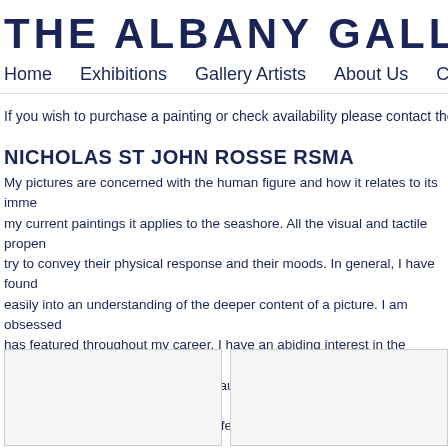THE ALBANY GALLERY
Home   Exhibitions   Gallery Artists   About Us   Contact
If you wish to purchase a painting or check availability please contact the galle
NICHOLAS ST JOHN ROSSE RSMA
My pictures are concerned with the human figure and how it relates to its imme my current paintings it applies to the seashore. All the visual and tactile propen try to convey their physical response and their moods. In general, I have found easily into an understanding of the deeper content of a picture. I am obsessed has featured throughout my career. I have an abiding interest in the human fac background of realism and sound draughtsmanship, but I also believe in the ex paintings. For light relief I paint still life and other subjects.
[Figure (photo): Artwork image placeholder left]
[Figure (photo): Artwork image placeholder right]